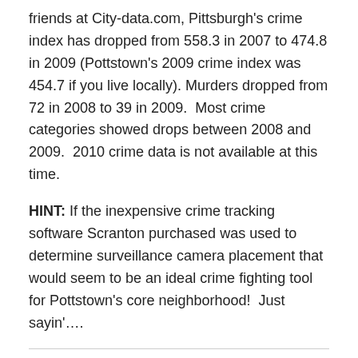friends at City-data.com, Pittsburgh's crime index has dropped from 558.3 in 2007 to 474.8 in 2009 (Pottstown's 2009 crime index was 454.7 if you live locally). Murders dropped from 72 in 2008 to 39 in 2009.  Most crime categories showed drops between 2008 and 2009.  2010 crime data is not available at this time.
HINT: If the inexpensive crime tracking software Scranton purchased was used to determine surveillance camera placement that would seem to be an ideal crime fighting tool for Pottstown's core neighborhood!  Just sayin'….
Share this:
[Figure (other): Social sharing buttons: Twitter and Facebook]
[Figure (other): Like button]